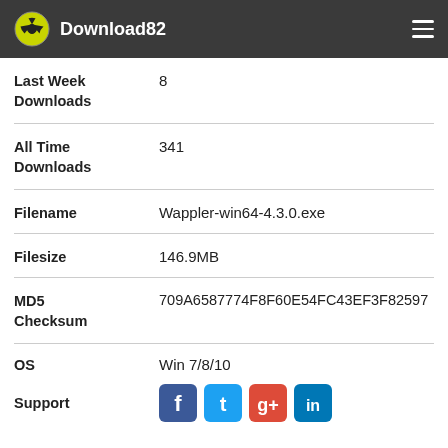Download82
| Field | Value |
| --- | --- |
| Last Week Downloads | 8 |
| All Time Downloads | 341 |
| Filename | Wappler-win64-4.3.0.exe |
| Filesize | 146.9MB |
| MD5 Checksum | 709A6587774F8F60E54FC43EF3F82597 |
| OS | Win 7/8/10 |
| Support | [social icons: Facebook, Twitter, Google+, LinkedIn] |